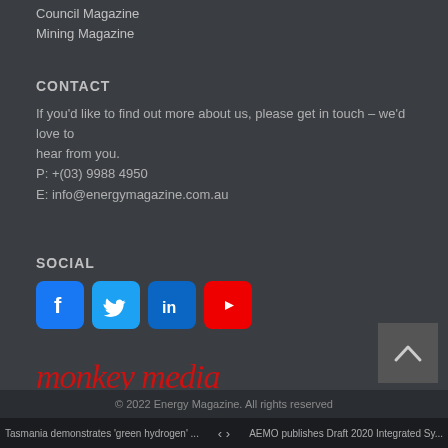Council Magazine
Mining Magazine
CONTACT
If you'd like to find out more about us, please get in touch – we'd love to hear from you.
P: +(03) 9988 4950
E: info@energymagazine.com.au
SOCIAL
[Figure (logo): Social media icons: Facebook (blue), Twitter (blue), LinkedIn (blue), YouTube (red)]
[Figure (logo): Monkey Media logo in red italic serif text with decorative swirl]
© 2022 Energy Magazine. All rights reserved
Tasmania demonstrates 'green hydrogen' ...   <   >   AEMO publishes Draft 2020 Integrated Sy...